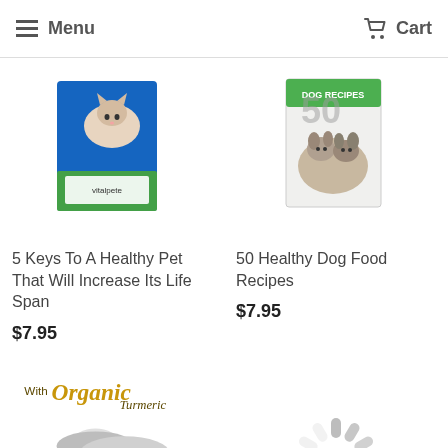Menu   Cart
[Figure (photo): Product image: 5 Keys To A Healthy Pet book showing a cat on blue packaging]
5 Keys To A Healthy Pet That Will Increase Its Life Span
$7.95
[Figure (photo): Product image: 50 Healthy Dog Food Recipes book showing dogs on cover]
50 Healthy Dog Food Recipes
$7.95
[Figure (photo): Product image: Hip & Joint dog treats with Organic Turmeric label]
[Figure (illustration): Loading spinner graphic (gray radial dashes)]
Cat Training 101
$7.95